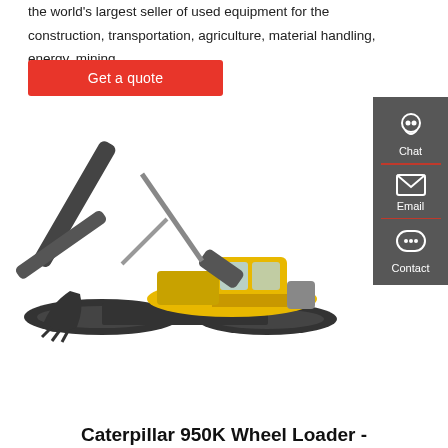the world's largest seller of used equipment for the construction, transportation, agriculture, material handling, energy, mining
Get a quote
[Figure (photo): A Volvo tracked excavator (crawler excavator) with yellow cab and dark grey boom and arm, shown in side profile on white background.]
[Figure (infographic): Dark grey sidebar with three contact options: Chat (headset icon), Email (envelope icon), Contact (speech bubble with dots icon), each separated by a red horizontal divider.]
Caterpillar 950K Wheel Loader -